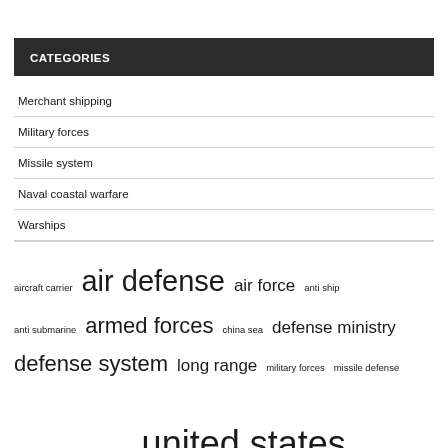CATEGORIES
Merchant shipping
Military forces
Missile system
Naval coastal warfare
Warships
aircraft carrier  air defense  air force  anti ship  anti submarine  armed forces  china sea  defense ministry  defense system  long range  military forces  missile defense  missile systems  royal navy  united states